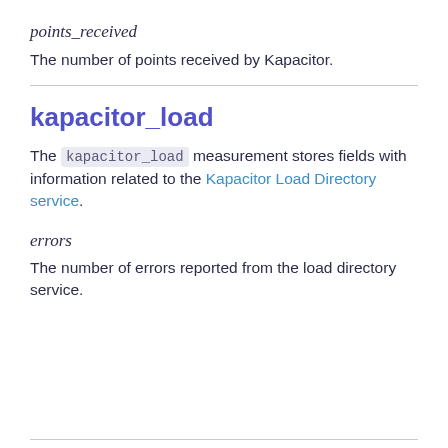points_received
The number of points received by Kapacitor.
kapacitor_load
The kapacitor_load measurement stores fields with information related to the Kapacitor Load Directory service.
errors
The number of errors reported from the load directory service.